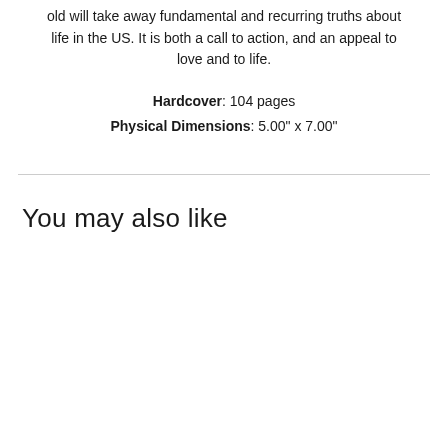old will take away fundamental and recurring truths about life in the US. It is both a call to action, and an appeal to love and to life.
Hardcover: 104 pages
Physical Dimensions: 5.00" x 7.00"
You may also like